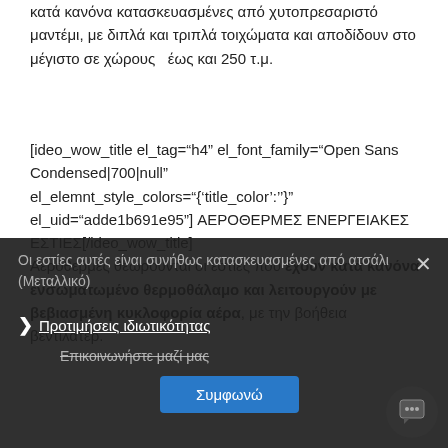κατά κανόνα κατασκευασμένες από χυτοπρεσαριστό μαντέμι, με διπλά και τριπλά τοιχώματα και αποδίδουν στο μέγιστο σε χώρους  έως και 250 τ.μ.
[ideo_wow_title el_tag="h4" el_font_family="Open Sans Condensed|700|null" el_elemnt_style_colors="{'title_color':''}" el_uid="adde1b691e95"] ΑΕΡΟΘΕΡΜΕΣ ΕΝΕΡΓΕΙΑΚΕΣ ΕΣΤΙΕΣ[/ideo_wow_title]
Αερόθερμες θεωρούνται οι εστίες που έχουν κατά κανόνα ενσωματωμένο θερμοθάλαμο και λειτουργούν με βεβιασμένη κυκλοφορία αέρα, με την βοήθεια βεντιλατέρ.
Οι εστίες αυτές είναι συνήθως κατασκευασμένες από ατσάλι (Μεταλλικό)
Προτιμήσεις ιδιωτικότητας
Επικοινωνήστε μαζί μας
Συμφωνώ